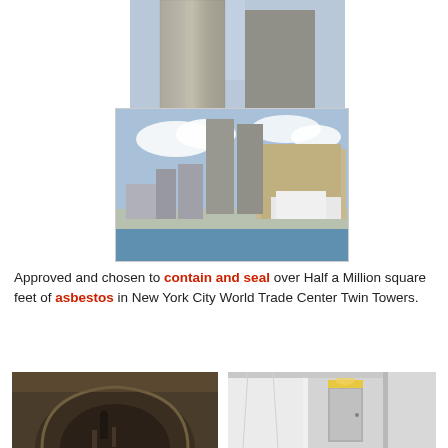[Figure (photo): Looking-up view of the Twin Towers of the World Trade Center against a blue sky, two tall silver-glass towers visible from below.]
[Figure (photo): Wide-angle view of the New York City skyline from the water, showing the World Trade Center Twin Towers prominently in the center with other buildings and a waterfront.]
Approved and chosen to contain and seal over Half a Million square feet of asbestos in New York City World Trade Center Twin Towers.
[Figure (photo): Interior tunnel or underground space with arched ceiling, a worker visible in the background amid industrial equipment.]
[Figure (photo): Interior room with white walls and plastic sheeting, showing containment work with a door and light fixture visible.]